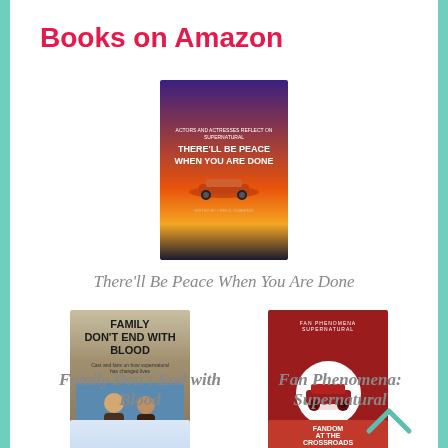Books on Amazon
[Figure (photo): Book cover: There'll Be Peace When You Are Done - colorful sunset with car imagery, purple/orange gradient background]
There'll Be Peace When You Are Done
[Figure (photo): Book cover: Family Don't End with Blood - sepia/tan tones with two figures standing]
[Figure (photo): Book cover: Fan Phenomena: Supernatural - dark red cover with white circle containing a car silhouette]
Family Don't End with Blood
Fan Phenomena: Supernatural
[Figure (photo): Book cover: Fangasm Supernatural Fangirls - light blue tones with stylized text]
[Figure (photo): Book cover: Fandom at the Crossroads - red cover with crime scene tape imagery]